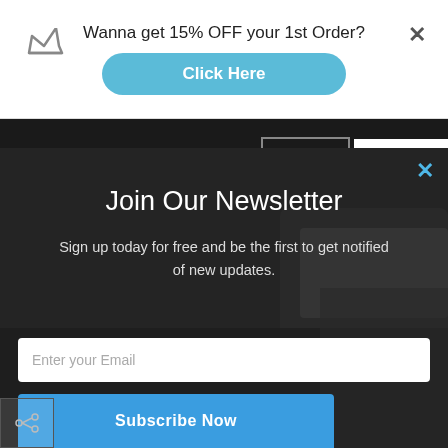Wanna get 15% OFF your 1st Order?
Click Here
SuperiorContent.com
LOGIN
GET A QU
Government & Non-Profits
Sports, Gaming & Fitness
Finance, Business & Real Estate
Education & Day Care
Join Our Newsletter
Sign up today for free and be the first to get notified of new updates.
Enter your Email
Subscribe Now